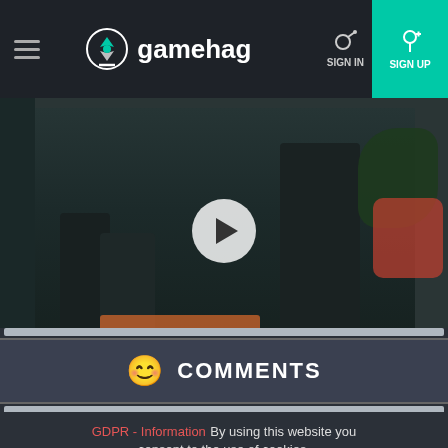gamehag — SIGN IN — SIGN UP
[Figure (screenshot): Video thumbnail showing chefs in a kitchen with a play button overlay. Bottom bar reads: Monetized by optAd360]
😊 COMMENTS
GDPR - Information   By using this website you consent to the use of cookies.
CLOSE